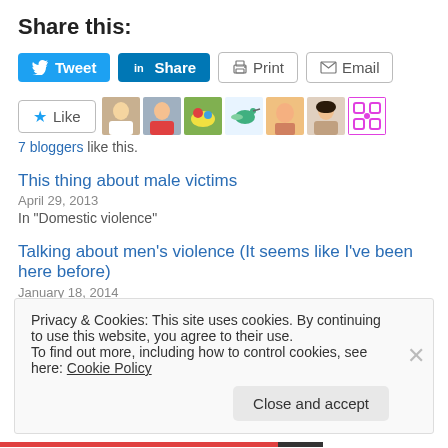Share this:
[Figure (other): Social sharing buttons: Tweet (Twitter), Share (LinkedIn), Print, Email]
[Figure (other): Like button with star icon and 7 blogger avatar thumbnails]
7 bloggers like this.
This thing about male victims
April 29, 2013
In "Domestic violence"
Talking about men's violence (It seems like I've been here before)
January 18, 2014
Privacy & Cookies: This site uses cookies. By continuing to use this website, you agree to their use.
To find out more, including how to control cookies, see here: Cookie Policy
Close and accept